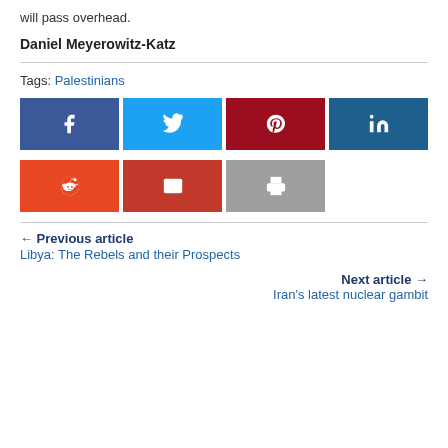will pass overhead.
Daniel Meyerowitz-Katz
Tags: Palestinians
[Figure (infographic): Social share buttons: Facebook (blue), Twitter (light blue), Pinterest (dark red), LinkedIn (dark blue), Reddit (orange), Email (red), Print (gray)]
← Previous article
Libya: The Rebels and their Prospects
Next article →
Iran's latest nuclear gambit